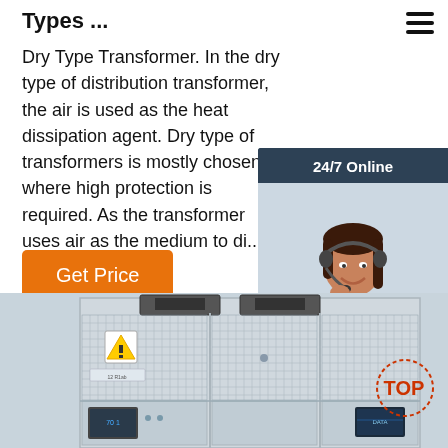Types ...
Dry Type Transformer. In the dry type of distribution transformer, the air is used as the heat dissipation agent. Dry type of transformers is mostly chosen where high protection is required. As the transformer uses air as the medium to di... so there ...
Get Price
[Figure (infographic): 24/7 Online chat widget with a customer service representative photo, 'Click here for free chat!' text, and an orange QUOTATION button, on a dark navy background.]
[Figure (photo): Industrial dry-type transformer or electrical equipment unit, large metallic box with mesh grating panels, warning labels, and control panels, photographed from front.]